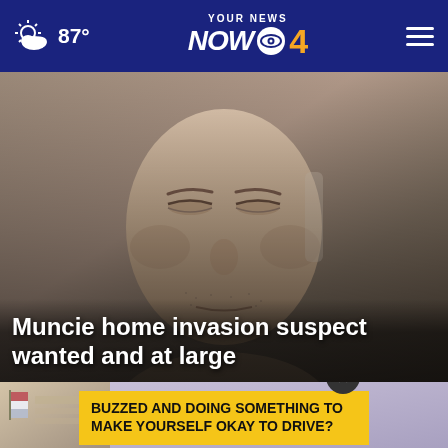87° YOUR NEWS NOW CBS 4
[Figure (photo): Mugshot/close-up photo of a man's face, light skin, stubble, dark background — a home invasion suspect]
Muncie home invasion suspect wanted and at large
[Figure (photo): Thumbnail of another news story on the left side]
[Figure (photo): Thumbnail of another news story on the right side (purple/lavender background)]
BUZZED AND DOING SOMETHING TO MAKE YOURSELF OKAY TO DRIVE?